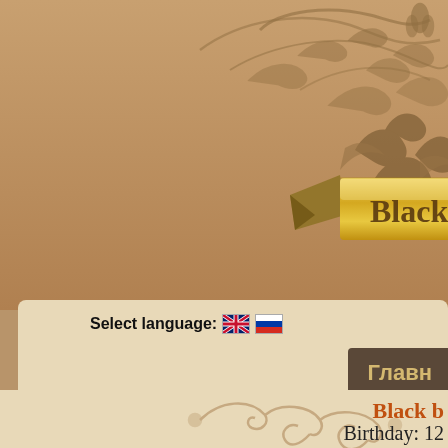[Figure (illustration): Decorative header with brown/tan background featuring ornate golden ribbon banner with text 'Black & Ch...' and dark brown floral/scrollwork ornamental designs on the right side]
Select language: [UK flag] [RU flag]
Главн...
[Figure (illustration): Decorative ornamental swirl divider in brown tones]
Black b...
Birthday: 12...
Owner name...
Manufacturer: Lilia Ziorova (li...